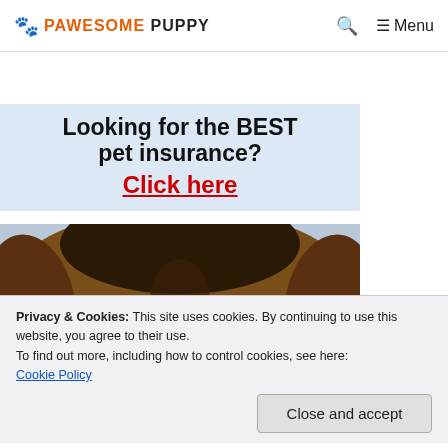PAWESOME PUPPY  🐾  Menu
[Figure (infographic): Pet insurance advertisement banner with dog photo. Text: 'Looking for the BEST pet insurance? Click here'. Dog close-up photo showing face/eyes of a brown brindle dog.]
Privacy & Cookies: This site uses cookies. By continuing to use this website, you agree to their use.
To find out more, including how to control cookies, see here: Cookie Policy
Close and accept
had a square, blocky skull and was a dark brindle color with a white blaze on his face